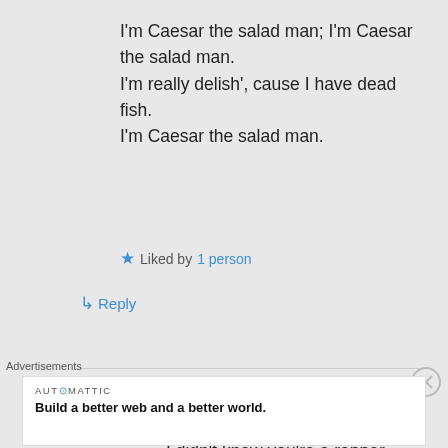I'm Caesar the salad man; I'm Caesar the salad man.
I'm really delish', cause I have dead fish.
I'm Caesar the salad man.
★ Liked by 1 person
↳ Reply
idiotprufs on March 15, 2017 at 7:27 pm
I didn't know you're a rapper.
Advertisements
AUTOMATTIC
Build a better web and a better world.